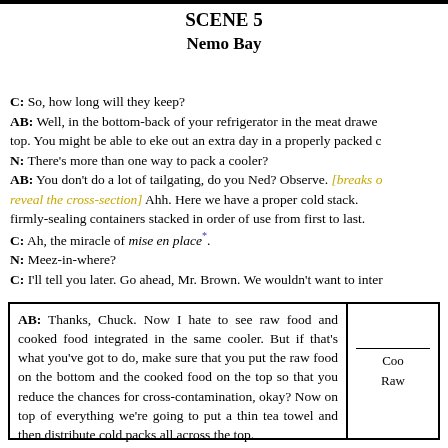SCENE 5
Nemo Bay
C: So, how long will they keep?
AB: Well, in the bottom-back of your refrigerator in the meat drawer on top. You might be able to eke out an extra day in a properly packed cooler.
N: There's more than one way to pack a cooler?
AB: You don't do a lot of tailgating, do you Ned? Observe. [breaks open to reveal the cross-section] Ahh. Here we have a proper cold stack. firmly-sealing containers stacked in order of use from first to last.
C: Ah, the miracle of mise en place*.
N: Meez-in-where?
C: I'll tell you later. Go ahead, Mr. Brown. We wouldn't want to inter
AB: Thanks, Chuck. Now I hate to see raw food and cooked food integrated in the same cooler. But if that's what you've got to do, make sure that you put the raw food on the bottom and the cooked food on the top so that you reduce the chances for cross-contamination, okay? Now on top of everything we're going to put a thin tea towel and then distribute cold packs all across the top.
Coo
Raw